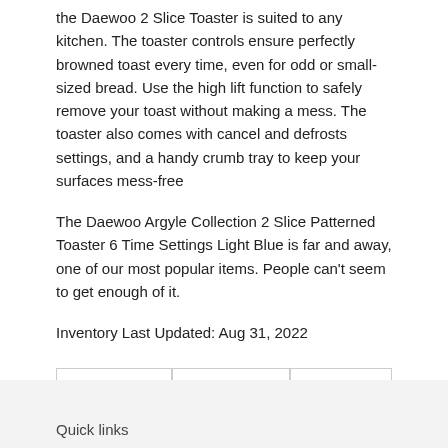the Daewoo 2 Slice Toaster is suited to any kitchen. The toaster controls ensure perfectly browned toast every time, even for odd or small-sized bread. Use the high lift function to safely remove your toast without making a mess. The toaster also comes with cancel and defrosts settings, and a handy crumb tray to keep your surfaces mess-free
The Daewoo Argyle Collection 2 Slice Patterned Toaster 6 Time Settings Light Blue is far and away, one of our most popular items. People can't seem to get enough of it.
Inventory Last Updated: Aug 31, 2022
[Figure (infographic): Social sharing buttons: Facebook SHARE, Twitter TWEET, Pinterest PIN IT]
Quick links